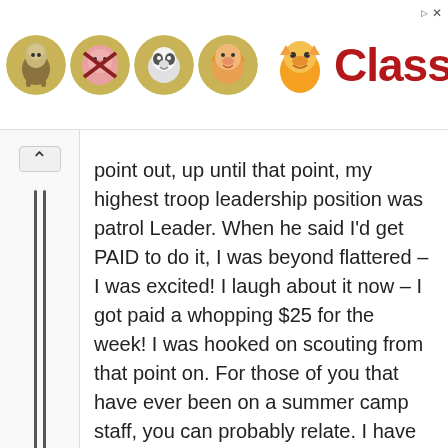[Figure (illustration): ClassB advertisement banner with four circular merit badge style icons showing animal characters (llama, pig, sheep/panda, dog) and the ClassB logo with mascot and red bold text]
point out, up until that point, my highest troop leadership position was patrol Leader. When he said I'd get PAID to do it, I was beyond flattered – I was excited! I laugh about it now – I got paid a whopping $25 for the week! I was hooked on scouting from that point on. For those of you that have ever been on a summer camp staff, you can probably relate. I have fond memories of many years on summer camp staff, and how it lead to other things like being on an OA ceremonial team and realizing that scouting is so much bigger than just my troop.